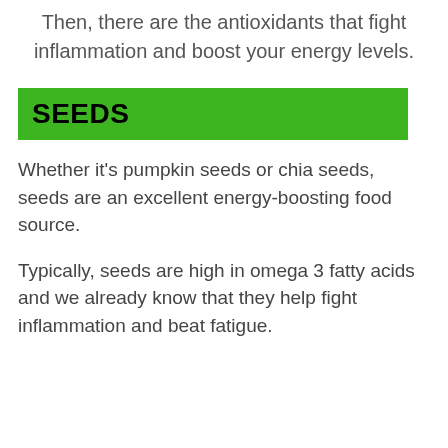Then, there are the antioxidants that fight inflammation and boost your energy levels.
SEEDS
Whether it’s pumpkin seeds or chia seeds, seeds are an excellent energy-boosting food source.
Typically, seeds are high in omega 3 fatty acids and we already know that they help fight inflammation and beat fatigue.